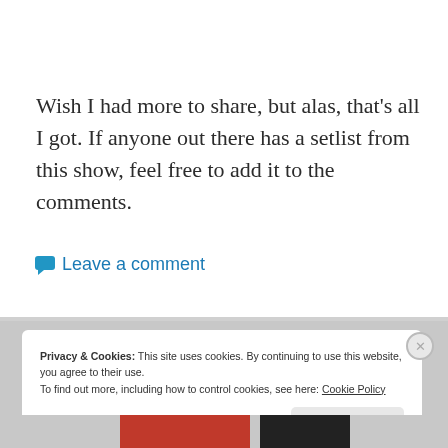Wish I had more to share, but alas, that's all I got. If anyone out there has a setlist from this show, feel free to add it to the comments.
Leave a comment
Privacy & Cookies: This site uses cookies. By continuing to use this website, you agree to their use. To find out more, including how to control cookies, see here: Cookie Policy
Close and accept